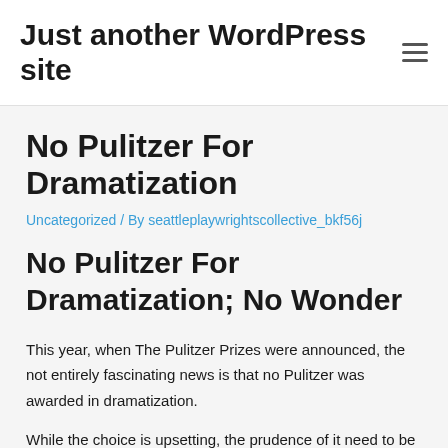Just another WordPress site
No Pulitzer For Dramatization
Uncategorized / By seattleplaywrightscollective_bkf56j
No Pulitzer For Dramatization; No Wonder
This year, when The Pulitzer Prizes were announced, the not entirely fascinating news is that no Pulitzer was awarded in dramatization.
While the choice is upsetting, the prudence of it need to be acknowledged, considering that love for the theater and those that